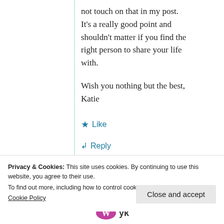not touch on that in my post. It's a really good point and shouldn't matter if you find the right person to share your life with.

Wish you nothing but the best,
Katie
★ Like
↳ Reply
Privacy & Cookies: This site uses cookies. By continuing to use this website, you agree to their use.
To find out more, including how to control cookies, see here: Cookie Policy
Close and accept
[Figure (logo): WordPress logo icon (purple/magenta 'W' symbol) followed by text 'yk']